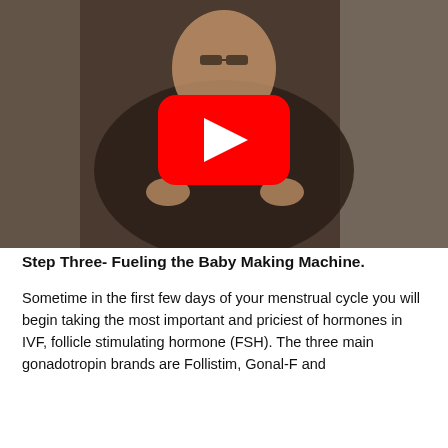[Figure (photo): A man in a dark suit and glasses sitting and speaking with hands gesturing, in front of a light curtain background. A YouTube play button overlay (red rectangle with white triangle) is centered on the image.]
Step Three- Fueling the Baby Making Machine.
Sometime in the first few days of your menstrual cycle you will begin taking the most important and priciest of hormones in IVF, follicle stimulating hormone (FSH). The three main gonadotropin brands are Follistim, Gonal-F and